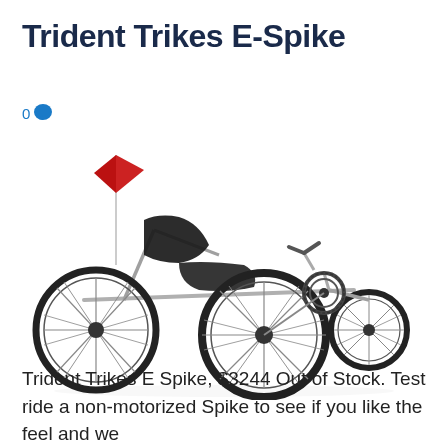Trident Trikes E-Spike
0 💬
[Figure (photo): A recumbent electric trike (Trident Trikes E-Spike) shown in profile view on a white background. The trike has a low-slung black mesh seat, three wheels, a chrome/silver frame, a red safety flag on a pole at the rear, and a chainring/pedal assembly visible at the front right.]
Trident Trikes E Spike,  $3244 Out of Stock. Test ride a non-motorized Spike to see if you like the feel and we